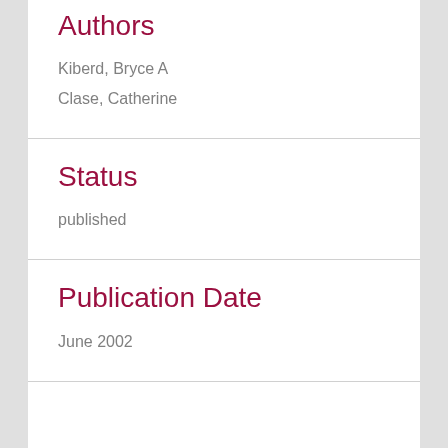Authors
Kiberd, Bryce A
Clase, Catherine
Status
published
Publication Date
June 2002